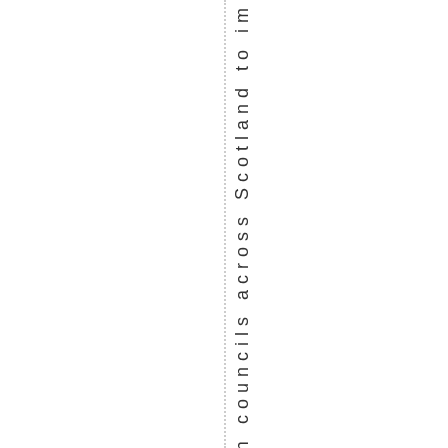with councils across Scotland to im